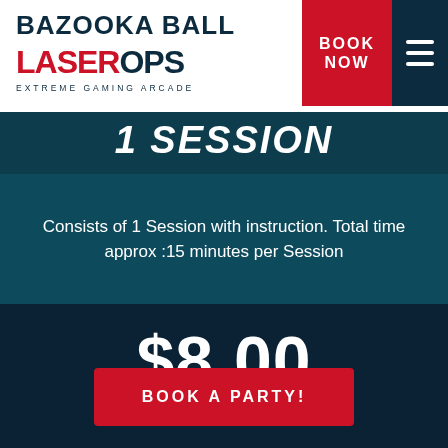BAZOOKA BALL
[Figure (logo): LaserOps Extreme Gaming Arcade logo with red LASER and dark ROPS text with tagline EXTREME GAMING ARCADE]
BOOK NOW
1 SESSION
Consists of 1 Session with instruction. Total time approx :15 minutes per Session
$8.00
BOOK A PARTY!